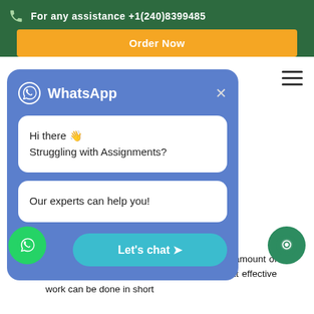For any assistance +1(240)8399485
Order Now
[Figure (screenshot): WhatsApp chat popup widget with messages: 'Hi there 👋 Struggling with Assignments?' and 'Our experts can help you!' with a 'Let's chat ➤' button]
professionals work so intelligently that large amount of work is divided into smaller segments so that effective work can be done in short